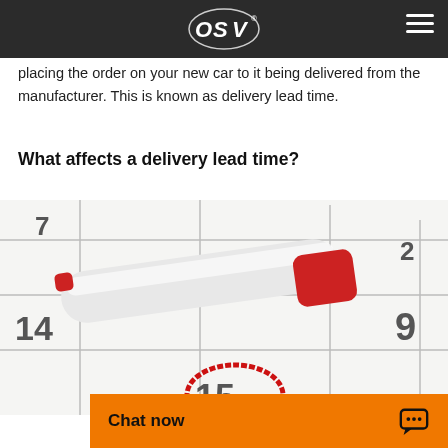OSV logo and navigation header
placing the order on your new car to it being delivered from the manufacturer. This is known as delivery lead time.
What affects a delivery lead time?
[Figure (photo): A white marker/pen with a red tip resting on a calendar page with grid lines and numbers (7, 2, 9, 14, 15 visible), with a red circle drawn around a date. Close-up, high contrast, clean white background.]
Chat now